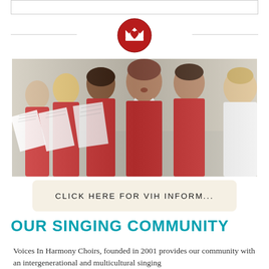[Figure (logo): Voices In Harmony crown logo — a red circular badge with a white crown and musical note symbol]
[Figure (photo): Children in red choir uniforms singing from sheet music, viewed from the side in a row]
CLICK HERE FOR VIH INFORM...
OUR SINGING COMMUNITY
Voices In Harmony Choirs, founded in 2001 provides our community with an intergenerational and multicultural singing